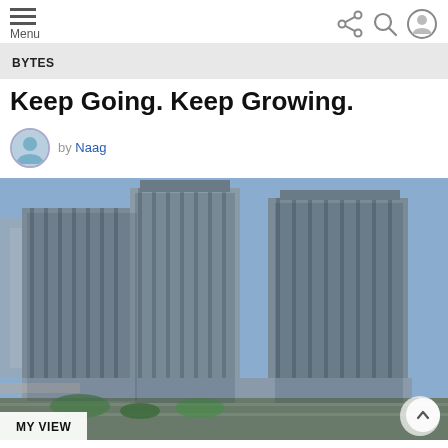Menu
BYTES
Keep Going. Keep Growing.
by Naag
[Figure (photo): Aerial view of a large modern commercial building complex, multi-story, dark glass and concrete facade, with city surroundings visible]
MY VIEW